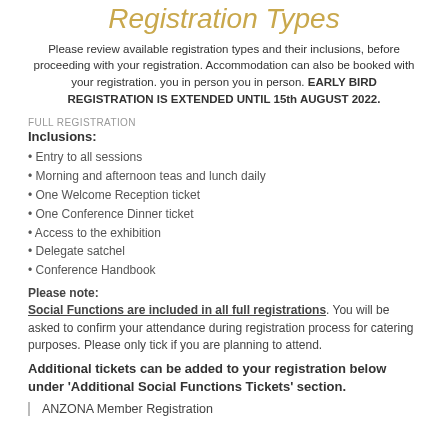Registration Types
Please review available registration types and their inclusions, before proceeding with your registration. Accommodation can also be booked with your registration. you in person you in person. EARLY BIRD REGISTRATION IS EXTENDED UNTIL 15th AUGUST 2022.
FULL REGISTRATION
Inclusions:
Entry to all sessions
Morning and afternoon teas and lunch daily
One Welcome Reception ticket
One Conference Dinner ticket
Access to the exhibition
Delegate satchel
Conference Handbook
Please note: Social Functions are included in all full registrations. You will be asked to confirm your attendance during registration process for catering purposes. Please only tick if you are planning to attend.
Additional tickets can be added to your registration below under 'Additional Social Functions Tickets' section.
ANZONA Member Registration